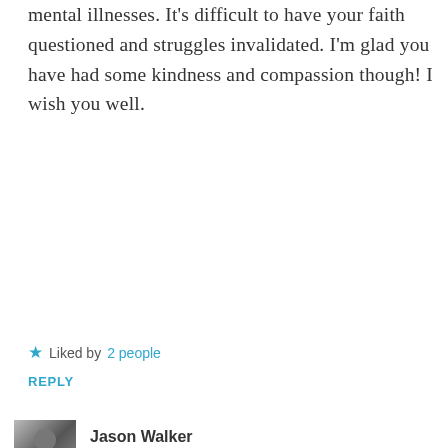mental illnesses. It's difficult to have your faith questioned and struggles invalidated. I'm glad you have had some kindness and compassion though! I wish you well.
★ Liked by 2 people
REPLY
Jason Walker
SEPTEMBER 26, 2018 AT 3:09 PM
[Figure (photo): Black and white profile photo of Jason Walker, a man with glasses and a beard]
Thank you! Fortunately, I don't put
Advertisements
[Figure (other): DuckDuckGo advertisement banner: Search, browse, and email with more privacy. All in One Free App.]